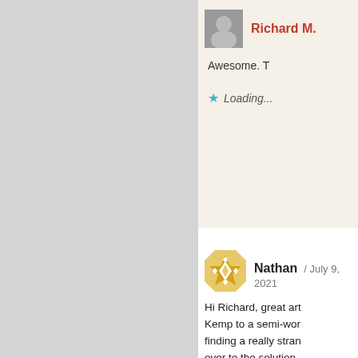[Figure (photo): Avatar/profile photo of Richard M., a man in a suit]
Richard M.
Awesome. T
Loading...
[Figure (illustration): Avatar/profile icon for Nathan, a decorative geometric quilt-star pattern in yellow and white]
Nathan / July 9, 2021
Hi Richard, great art Kemp to a semi-wor finding a really stran over to the solution.
So we currently have Kemp LoadMaster si Clients using a Device network resources (D servers), User Tunne subnets on SSTP. Wh